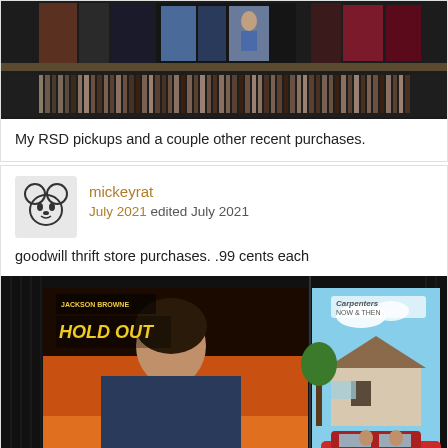[Figure (photo): Photo of vinyl record shelves with colorful album covers visible on top shelf and rows of records below]
My RSD pickups and a couple other recent purchases.
[Figure (photo): Avatar image of Mickey Mouse cartoon sketch]
mickeyrat
July 2021 edited July 2021
goodwill thrift store purchases. .99 cents each
[Figure (photo): Photo of two vinyl record albums: Jackson Browne 'Hold Out' on the left and Carpenters 'Now & Then' on the right, displayed against a textured dark background]